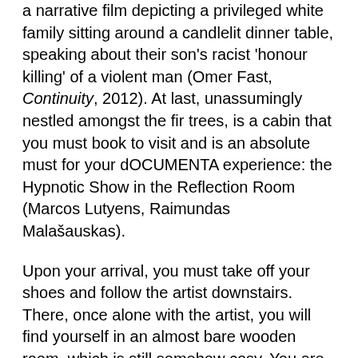a narrative film depicting a privileged white family sitting around a candlelit dinner table, speaking about their son's racist 'honour killing' of a violent man (Omer Fast, Continuity, 2012). At last, unassumingly nestled amongst the fir trees, is a cabin that you must book to visit and is an absolute must for your dOCUMENTA experience: the Hypnotic Show in the Reflection Room (Marcos Lutyens, Raimundas Malašauskas).
Upon your arrival, you must take off your shoes and follow the artist downstairs. There, once alone with the artist, you will find yourself in an almost bare wooden room, which is still somehow cosy. You are told that you are being filmed. You are told to relax and choose a 'story' from a book consisting of no words, only colour combinations. And from there on in, the hypnotist and your unconscious mind take over to become the featured artwork. The hypnotist works to project your inner thoughts back to you in the form of verbal descriptions woven into the narrative he speaks. In this sense, each individual session results in a completely new 'artwork', which is captured